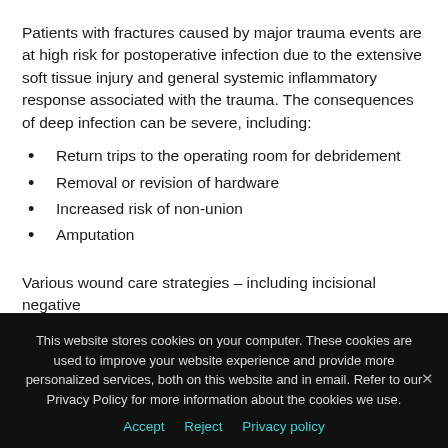Patients with fractures caused by major trauma events are at high risk for postoperative infection due to the extensive soft tissue injury and general systemic inflammatory response associated with the trauma. The consequences of deep infection can be severe, including:
Return trips to the operating room for debridement
Removal or revision of hardware
Increased risk of non-union
Amputation
Various wound care strategies – including incisional negative
This website stores cookies on your computer. These cookies are used to improve your website experience and provide more personalized services, both on this website and in email. Refer to our Privacy Policy for more information about the cookies we use.